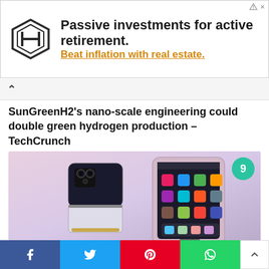[Figure (other): Advertisement banner: Passive investments for active retirement. Beat inflation with real estate. Logo with hexagonal design on left.]
SunGreenH2’s nano-scale engineering could double green hydrogen production – TechCrunch
[Figure (photo): Photo of two Samsung Galaxy Z Flip 4 foldable phones on a light pink/purple surface. A teal badge with number 9 in top-right corner.]
What’s New for Samsung’s Galaxy Z Flip 4: Cool Screen Tricks and Better Battery Life